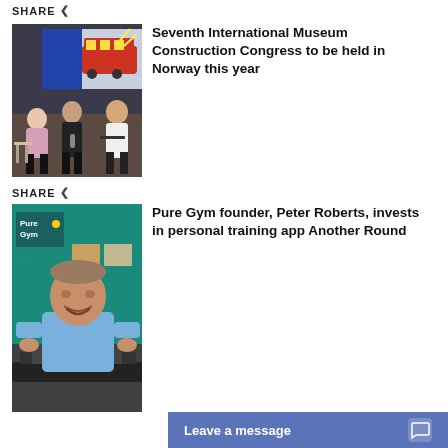SHARE
[Figure (photo): Three people seated on stage at a conference panel, with a colorful bus projection screen behind them]
Seventh International Museum Construction Congress to be held in Norway this year
SHARE
[Figure (photo): Man in a blue shirt smiling at a Pure Gym location, leaning on exercise equipment]
Pure Gym founder, Peter Roberts, invests in personal training app Another Round
Leave a message